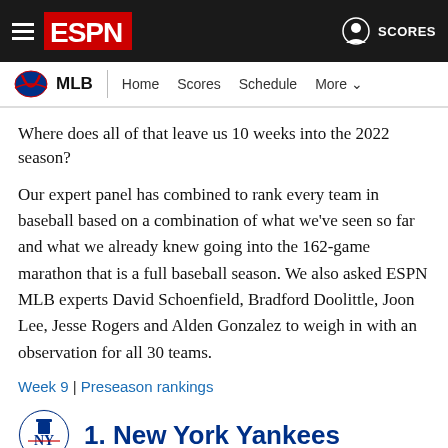ESPN MLB — Home | Scores | Schedule | More
Where does all of that leave us 10 weeks into the 2022 season?
Our expert panel has combined to rank every team in baseball based on a combination of what we've seen so far and what we already knew going into the 162-game marathon that is a full baseball season. We also asked ESPN MLB experts David Schoenfield, Bradford Doolittle, Joon Lee, Jesse Rogers and Alden Gonzalez to weigh in with an observation for all 30 teams.
Week 9 | Preseason rankings
1. New York Yankees
Record: 46-16